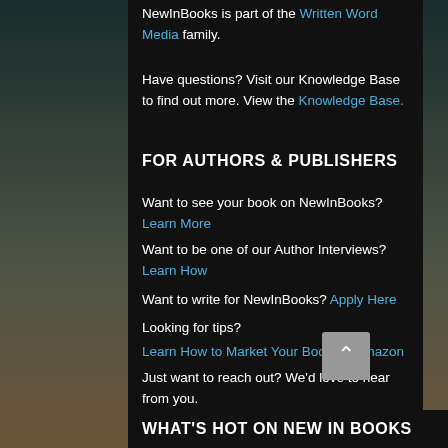NewInBooks is part of the Written Word Media family.
Have questions? Visit our Knowledge Base to find out more. View the Knowledge Base.
FOR AUTHORS & PUBLISHERS
Want to see your book on NewInBooks? Learn More
Want to be one of our Author Interviews? Learn How
Want to write for NewInBooks? Apply Here
Looking for tips?
Learn How to Market Your Book on Amazon
Just want to reach out? We'd love to hear from you.
Contact Us
WHAT'S HOT ON NEW IN BOOKS